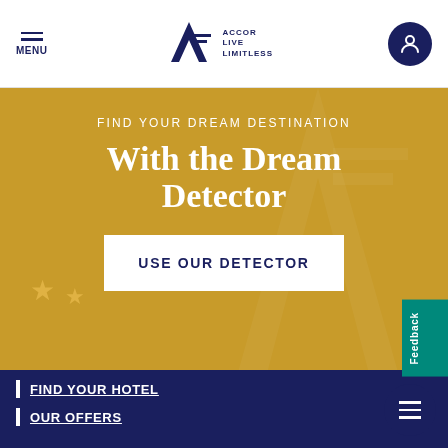MENU | ALL ACCOR LIVE LIMITLESS | user icon
FIND YOUR DREAM DESTINATION
With the Dream Detector
USE OUR DETECTOR
FIND YOUR HOTEL
OUR OFFERS